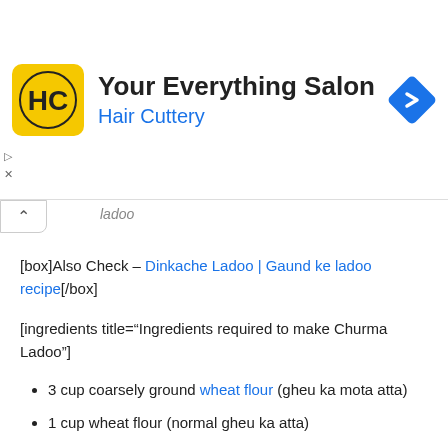[Figure (logo): Hair Cuttery advertisement banner with yellow HC logo, title 'Your Everything Salon', subtitle 'Hair Cuttery', and blue navigation arrow icon]
[box]Also Check – Dinkache Ladoo | Gaund ke ladoo recipe[/box]
[ingredients title="Ingredients required to make Churma Ladoo"]
3 cup coarsely ground wheat flour (gheu ka mota atta)
1 cup wheat flour (normal gheu ka atta)
(If you don't have coarsely ground wheat flour take 1 cup of semolina and 2 cups of wheat flour )